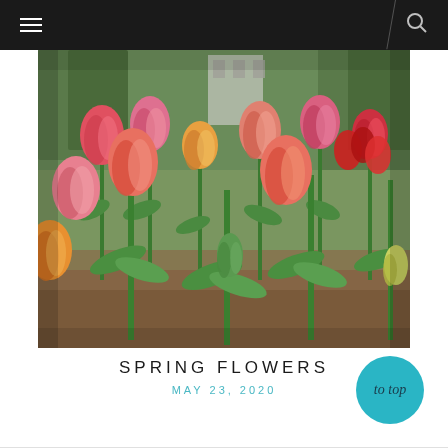Navigation header with hamburger menu and search icon
[Figure (photo): A garden bed filled with colorful spring tulips in shades of pink, red, orange, and yellow-green. Green foliage and trees visible in background.]
SPRING FLOWERS
MAY 23, 2020